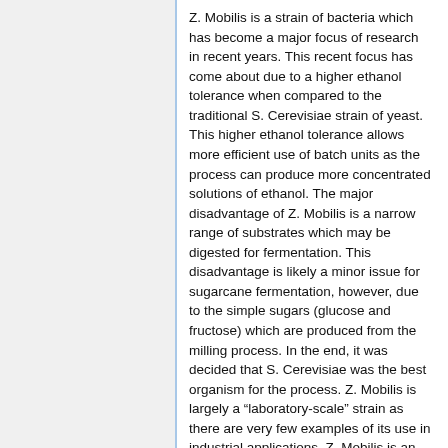Z. Mobilis is a strain of bacteria which has become a major focus of research in recent years. This recent focus has come about due to a higher ethanol tolerance when compared to the traditional S. Cerevisiae strain of yeast. This higher ethanol tolerance allows more efficient use of batch units as the process can produce more concentrated solutions of ethanol. The major disadvantage of Z. Mobilis is a narrow range of substrates which may be digested for fermentation. This disadvantage is likely a minor issue for sugarcane fermentation, however, due to the simple sugars (glucose and fructose) which are produced from the milling process. In the end, it was decided that S. Cerevisiae was the best organism for the process. Z. Mobilis is largely a “laboratory-scale” strain as there are very few examples of its use in industrial applications. Z. Mobilis is an option that should be under ongoing evaluation in the future, however, due to the promise it shows as an ethanol producer.